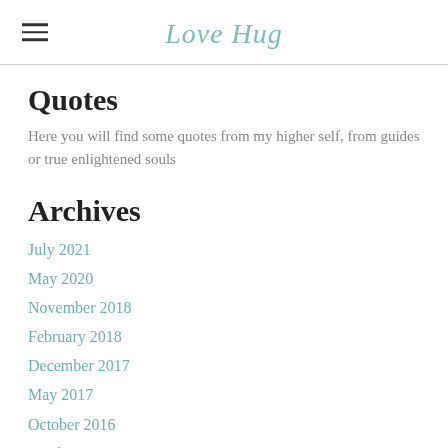Love Hug
Quotes
Here you will find some quotes from my higher self, from guides or true enlightened souls
Archives
July 2021
May 2020
November 2018
February 2018
December 2017
May 2017
October 2016
April 2016
March 2016
February 2016
December 2015
October 2015